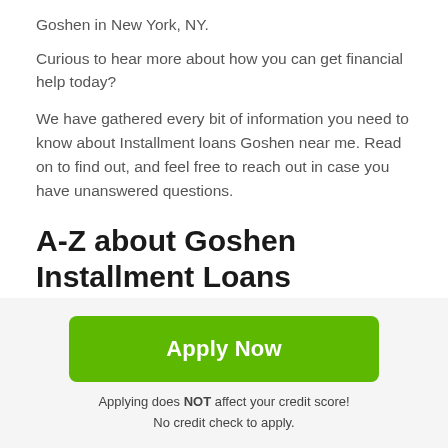Goshen in New York, NY.
Curious to hear more about how you can get financial help today?
We have gathered every bit of information you need to know about Installment loans Goshen near me. Read on to find out, and feel free to reach out in case you have unanswered questions.
A-Z about Goshen Installment Loans
In the financial markets, there is a comprehensive assortment of services offered by financial institutions.
Apply Now
Applying does NOT affect your credit score!
No credit check to apply.